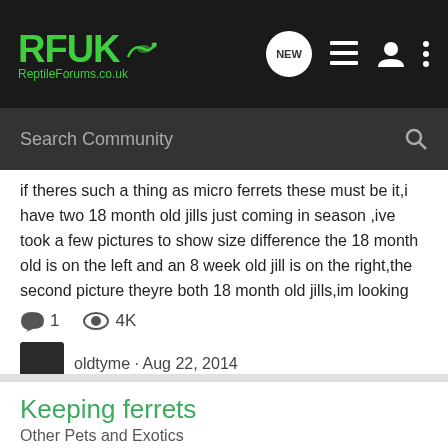RFUK ReptileForums.co.uk — Navigation bar with Search Community
if theres such a thing as micro ferrets these must be it,i have two 18 month old jills just coming in season ,ive took a few pictures to show size difference the 18 month old is on the left and an 8 week old jill is on the right,the second picture theyre both 18 month old jills,im looking for...
1 comment · 4K views · oldtyme · Aug 22, 2014 · ferrets
Keeping ferrets
Other Pets and Exotics
We have built outside a huge 14ft dog run and inside it there is a shed which we were gifted, as my hubby converted it